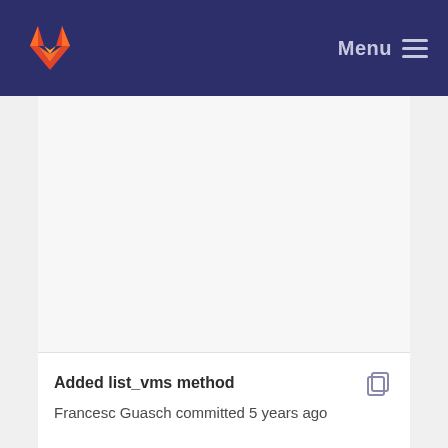Menu
[Figure (other): Large blank/empty content area, light gray background, representing a GitLab repository file view with no visible content in this crop]
Added list_vms method
Francesc Guasch committed 5 years ago